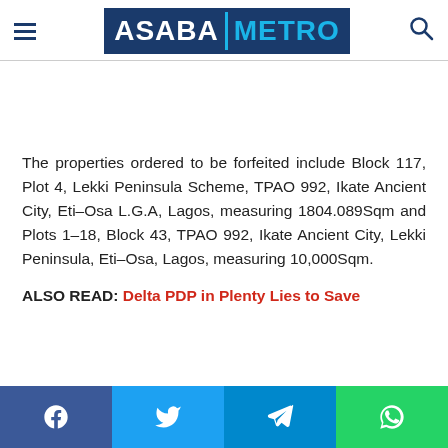ASABA METRO
The properties ordered to be forfeited include Block 117, Plot 4, Lekki Peninsula Scheme, TPAO 992, Ikate Ancient City, Eti-Osa L.G.A, Lagos, measuring 1804.089Sqm and Plots 1–18, Block 43, TPAO 992, Ikate Ancient City, Lekki Peninsula, Eti-Osa, Lagos, measuring 10,000Sqm.
ALSO READ: Delta PDP in Plenty Lies to Save